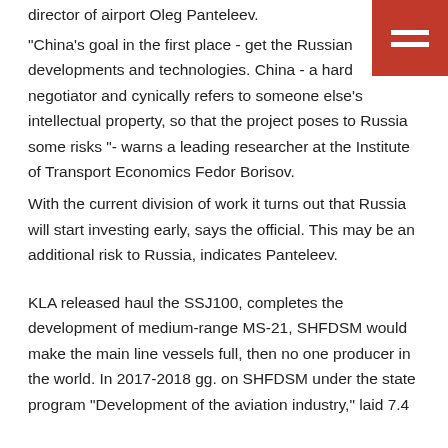director of airport  Oleg Panteleev.
"China's goal in the first place - get the Russian developments and technologies. China - a hard negotiator and cynically refers to someone else's intellectual property, so that the project poses to Russia some risks "- warns a leading researcher at the Institute of Transport Economics Fedor Borisov.
With the current division of work it turns out that Russia will start investing early, says the official. This may be an additional risk to Russia, indicates Panteleev.
KLA released haul the SSJ100, completes the development of medium-range MS-21, SHFDSM would make the main line vessels full, then no one producer in the world. In 2017-2018 gg. on SHFDSM under the state program "Development of the aviation industry," laid 7.4